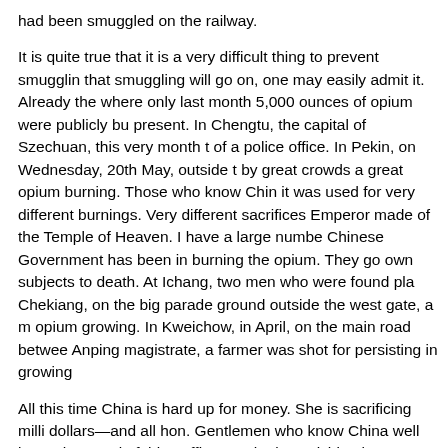had been smuggled on the railway.
It is quite true that it is a very difficult thing to prevent smuggling that smuggling will go on, one may easily admit it. Already the where only last month 5,000 ounces of opium were publicly bu present. In Chengtu, the capital of Szechuan, this very month t of a police office. In Pekin, on Wednesday, 20th May, outside t by great crowds a great opium burning. Those who know Chin it was used for very different burnings. Very different sacrifices Emperor made of the Temple of Heaven. I have a large numbe Chinese Government has been in burning the opium. They go own subjects to death. At Ichang, two men who were found pla Chekiang, on the big parade ground outside the west gate, a m opium growing. In Kweichow, in April, on the main road betwee Anping magistrate, a farmer was shot for persisting in growing
All this time China is hard up for money. She is sacrificing milli dollars—and all hon. Gentlemen who know China well know th control of this traffic. But she is punishing her citizens and putti great injury to her country. All these things show the stern dete stamp out this curse. No man who knows anything of China ca